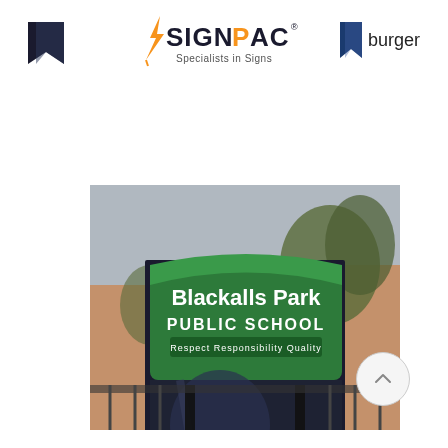[Figure (logo): Small dark bookmark/page-corner icon on the left]
[Figure (logo): SignPac logo — orange lightning bolt, SIGNPAC in orange/black text, 'Specialists in Signs' tagline]
[Figure (logo): Dark bookmark icon followed by 'burger' text on the right (navigation/menu icon)]
[Figure (photo): Photograph of the Blackalls Park Public School outdoor sign. The sign has a green curved top panel reading 'Blackalls Park PUBLIC SCHOOL' with tagline 'Respect Responsibility Quality'. Below is a dark panel with reflections. Bottom strip reads 'www.blackallpk-p.schools.nsw.edu.au 4969 1213'. The sign is mounted on black posts with a school building and trees in the background.]